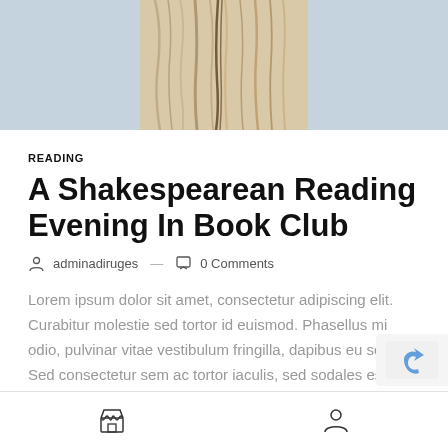[Figure (photo): Top portion of a wood texture photograph against a light blue-grey background]
READING
A Shakespearean Reading Evening In Book Club
adminadiruges — 0 Comments
Lorem ipsum dolor sit amet, consectetur adipiscing elit. Curabitur molestie sed tortor id euismod. Phasellus mi odio, pulvinar vitae vestibulum fringilla, dapibus eu sem. Sed consectetur sem ac tortor iaculis, sed sodales est faucibus. Integer nec feugiat justo. Suspendisse potenti. Vivamus sit amet congue magna, eget maximus nunc. Mauris…
Navigation footer with store icon and user icon